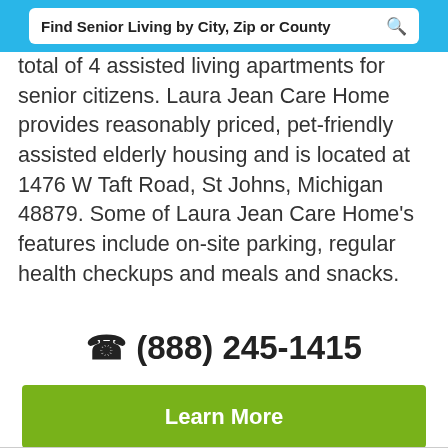Find Senior Living by City, Zip or County
total of 4 assisted living apartments for senior citizens. Laura Jean Care Home provides reasonably priced, pet-friendly assisted elderly housing and is located at 1476 W Taft Road, St Johns, Michigan 48879. Some of Laura Jean Care Home's features include on-site parking, regular health checkups and meals and snacks.
(888) 245-1415
Learn More
View Pricing & Availability